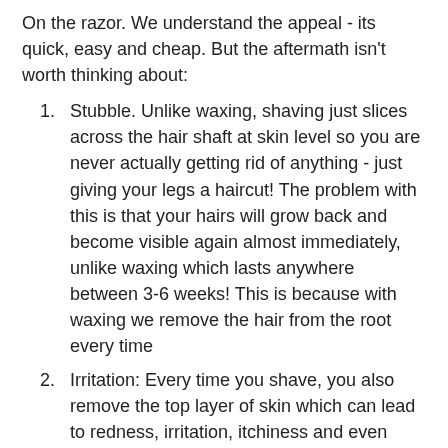On the razor. We understand the appeal - its quick, easy and cheap. But the aftermath isn't worth thinking about:
Stubble. Unlike waxing, shaving just slices across the hair shaft at skin level so you are never actually getting rid of anything - just giving your legs a haircut! The problem with this is that your hairs will grow back and become visible again almost immediately, unlike waxing which lasts anywhere between 3-6 weeks! This is because with waxing we remove the hair from the root every time
Irritation: Every time you shave, you also remove the top layer of skin which can lead to redness, irritation, itchiness and even infection. With Lycon Hot Wax on the other hand, we always protect your skin first by applying a pre-waxing oil which creates a nourishing barrier between the wax and your skin.
Ingrown Hairs & Infection: A common problem with shaving is that the hair can easily become twisted/redirected back into the follicle resulting in painful ingrown hairs. While Ingrown hairs are fairly common and generally just cause a bit of discomfort, we recently had